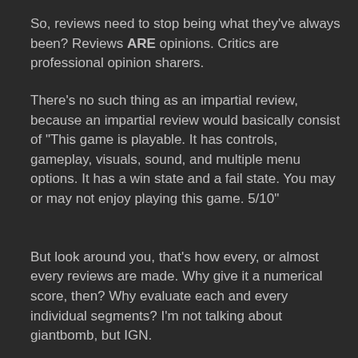So, reviews need to stop being what they've always been? Reviews ARE opinions. Critics are professional opinion sharers.
There's no such thing as an impartial review, because an impartial review would basically consist of "This game is playable. It has controls, gameplay, visuals, sound, and multiple menu options. It has a win state and a fail state. You may or may not enjoy playing this game. 5/10"
But look around you, that's how every, or almost every reviews are made. Why give it a numerical score, then? Why evaluate each and every individual segments? I'm not talking about giantbomb, but IGN.
Numerical scores are ridiculous, as they haven't meant anything since day one. That's a failing of the entire practice,